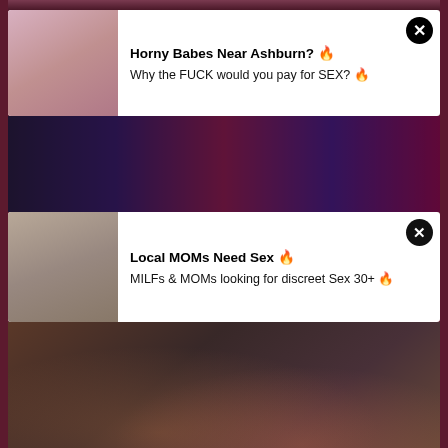[Figure (screenshot): Adult content website screenshot showing two ad overlays and a video thumbnail with title and view count]
Horny Babes Near Ashburn? 🔥
Why the FUCK would you pay for SEX? 🔥
Local MOMs Need Sex 🔥
MILFs & MOMs looking for discreet Sex 30+ 🔥
Sex Addict Teen Seduces Her Stepmom - GirlfriendsFilms BravoTube brunette
6083